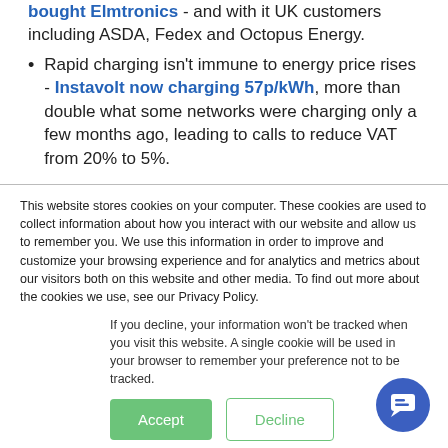bought Elmtronics - and with it UK customers including ASDA, Fedex and Octopus Energy.
Rapid charging isn't immune to energy price rises - Instavolt now charging 57p/kWh, more than double what some networks were charging only a few months ago, leading to calls to reduce VAT from 20% to 5%.
This website stores cookies on your computer. These cookies are used to collect information about how you interact with our website and allow us to remember you. We use this information in order to improve and customize your browsing experience and for analytics and metrics about our visitors both on this website and other media. To find out more about the cookies we use, see our Privacy Policy.
If you decline, your information won't be tracked when you visit this website. A single cookie will be used in your browser to remember your preference not to be tracked.